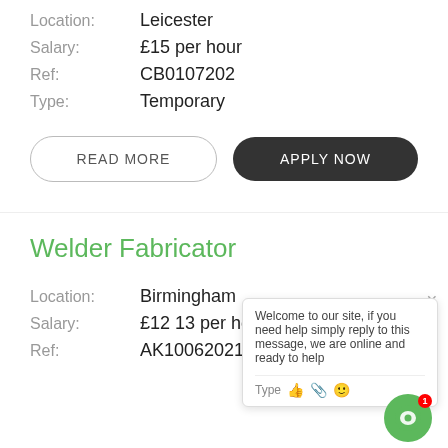Location: Leicester
Salary: £15 per hour
Ref: CB0107202
Type: Temporary
READ MORE
APPLY NOW
Welder Fabricator
Location: Birmingham
Salary: £12 13 per hour
Ref: AK10062021
Welcome to our site, if you need help simply reply to this message, we are online and ready to help